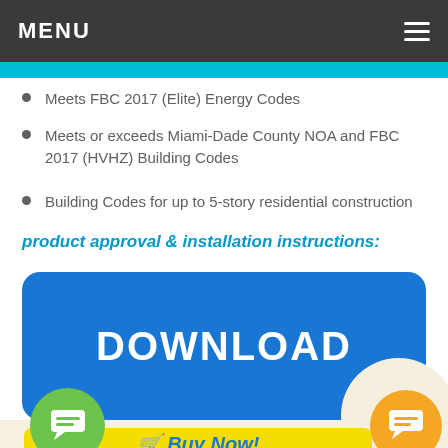MENU
Meets FBC 2017 (Elite) Energy Codes
Meets or exceeds Miami-Dade County NOA and FBC 2017 (HVHZ) Building Codes
Building Codes for up to 5-story residential construction
product approval & installation instructions:
[Figure (other): Blue rounded rectangle DOWNLOAD button]
[Figure (other): Green circular chat icon on the bottom left, orange circular chat icon on the bottom right, partial blue arc logo and yellow Buy Now button visible at bottom]